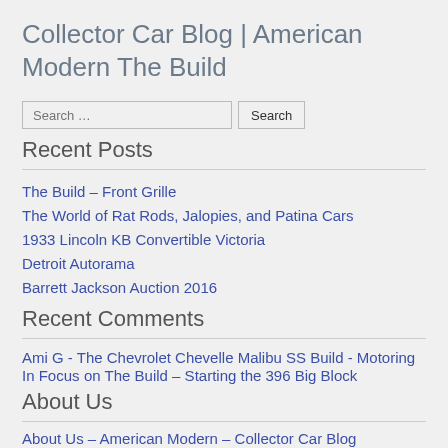Collector Car Blog | American Modern The Build
Recent Posts
The Build – Front Grille
The World of Rat Rods, Jalopies, and Patina Cars
1933 Lincoln KB Convertible Victoria
Detroit Autorama
Barrett Jackson Auction 2016
Recent Comments
Ami G - The Chevrolet Chevelle Malibu SS Build - Motoring In Focus on The Build – Starting the 396 Big Block
About Us
About Us – American Modern – Collector Car Blog